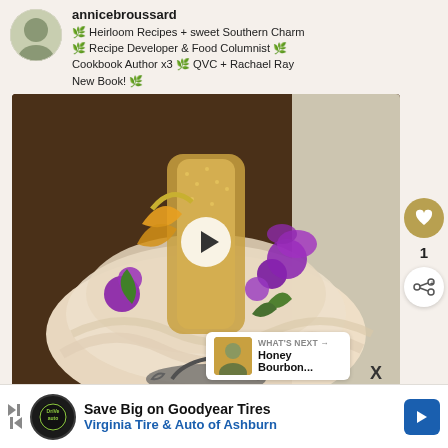annicebroussard
🌿 Heirloom Recipes + sweet Southern Charm 🌿 Recipe Developer & Food Columnist 🌿 Cookbook Author x3 🌿 QVC + Rachael Ray New Book! 🌿
[Figure (photo): Decorative dress or cake shaped like a figure with gold sequins and colorful embroidered flowers (purple, yellow, green) and ruffled cream tulle skirt, displayed on a stand on wooden stairs. A play button overlay is shown in the center, indicating a video.]
[Figure (photo): Thumbnail image for 'What's Next' section showing Honey Bourbon recipe]
WHAT'S NEXT → Honey Bourbon...
X
Save Big on Goodyear Tires Virginia Tire & Auto of Ashburn